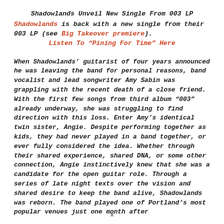Shadowlands Unveil New Single From 003 LP
Shadowlands is back with a new single from their 003 LP (see Big Takeover premiere).
Listen To “Pining For Time” Here
When Shadowlands’ guitarist of four years announced he was leaving the band for personal reasons, band vocalist and lead songwriter Amy Sabin was grappling with the recent death of a close friend. With the first few songs from third album “003” already underway, she was struggling to find direction with this loss. Enter Amy’s identical twin sister, Angie. Despite performing together as kids, they had never played in a band together, or ever fully considered the idea. Whether through their shared experience, shared DNA, or some other connection, Angie instinctively knew that she was a candidate for the open guitar role. Through a series of late night texts over the vision and shared desire to keep the band alive, Shadowlands was reborn. The band played one of Portland’s most popular venues just one month after
✕